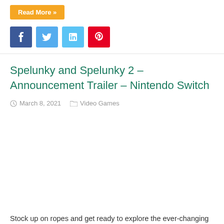Read More »
[Figure (other): Social share buttons: Facebook, Twitter, LinkedIn, Pinterest]
Spelunky and Spelunky 2 – Announcement Trailer – Nintendo Switch
March 8, 2021   Video Games
[Figure (other): Embedded video placeholder area]
Stock up on ropes and get ready to explore the ever-changing underground worlds of Spelunky and Spelunky 2 when both games